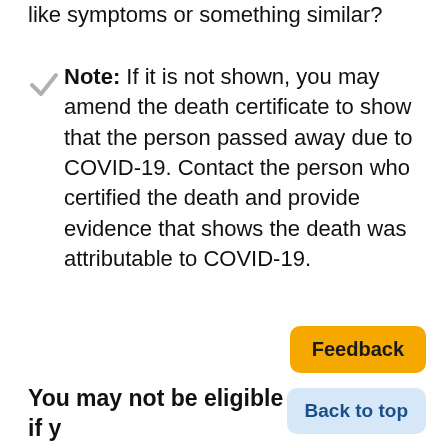like symptoms or something similar?
Note: If it is not shown, you may amend the death certificate to show that the person passed away due to COVID-19. Contact the person who certified the death and provide evidence that shows the death was attributable to COVID-19.
Feedback
Back to top
You may not be eligible if you have one of these: